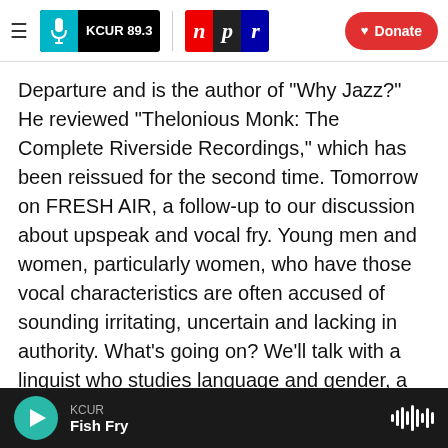KCUR 89.3 | npr | Donate
Departure and is the author of "Why Jazz?" He reviewed "Thelonious Monk: The Complete Riverside Recordings," which has been reissued for the second time. Tomorrow on FRESH AIR, a follow-up to our discussion about upspeak and vocal fry. Young men and women, particularly women, who have those vocal characteristics are often accused of sounding irritating, uncertain and lacking in authority. What's going on? We'll talk with a linguist who studies language and gender, a speech and language pathologist and a journalist who's been criticized for her voice. I hope you'll join
KCUR | Fish Fry